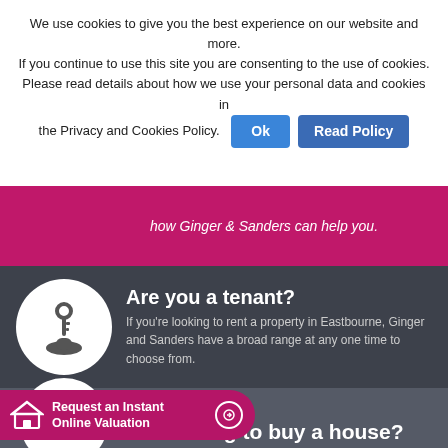We use cookies to give you the best experience on our website and more. If you continue to use this site you are consenting to the use of cookies. Please read details about how we use your personal data and cookies in the Privacy and Cookies Policy.
[Figure (screenshot): Cookie consent banner with Ok and Read Policy buttons; magenta hero strip with partial text 'how Ginger & Sanders can help you.'; dark overlay section with white circle key icon, 'Are you a tenant?' heading and description text; pink CTA bar 'Request an Instant Online Valuation'; bottom dark section with 'Looking to buy a house?' heading]